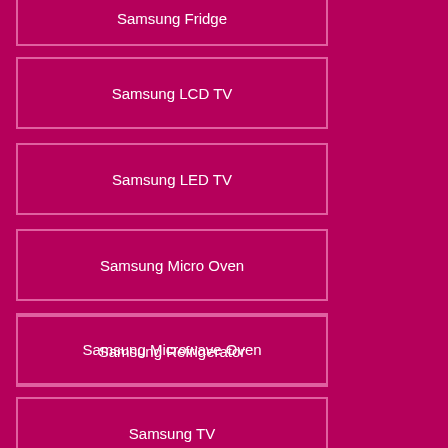Samsung Fridge
Samsung LCD TV
Samsung LED TV
Samsung Micro Oven
Samsung Microwave Oven
Samsung Refrigerator
Samsung TV